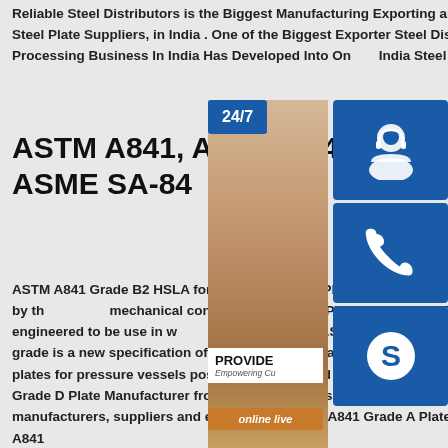Reliable Steel Distributors is the Biggest Manufacturing Exporting and Supplying Of Steel Plate Suppliers, in India . One of the Biggest Exporter Steel Distributors and Processing Business In India Has Developed Into One of India Steel Plate Companies
ASTM A841, ASTM A841 Grade B2, ASME SA-841 Grade
ASTM A841 Grade B2 HSLA for Pressure Plates covers steel plates produced by the mechanical control process (TMCP)..ASTM Gr.B2 plates are engineered to be use in welded pressure vessels.SA841 Gr.B2 Pressure Vessels plate, grade is a new specification of thermal-mechanical control process (TMCP) steel plates for pressure vessels possessing high yield strength, ASTM Plate - ASTM A131 Grade D Plate Manufacturer from Aesteiron Steels Pvt Ltd is one of the leading manufacturers, suppliers and exporters of ASTM A841 Grade A Plates. We are:ASTM A841
[Figure (photo): Customer support representative photo with sidebar widgets showing 24/7 support icon, phone icon, Skype icon, and online live button]